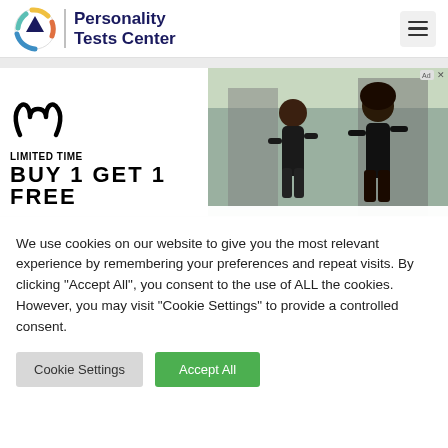[Figure (logo): Personality Tests Center logo with circular arrows icon and bold dark blue text]
[Figure (infographic): Under Armour advertisement banner: Under Armour logo, LIMITED TIME text, BUY 1 GET 1 FREE headline, two runners in black athletic wear on right side]
We use cookies on our website to give you the most relevant experience by remembering your preferences and repeat visits. By clicking “Accept All”, you consent to the use of ALL the cookies. However, you may visit "Cookie Settings" to provide a controlled consent.
Cookie Settings
Accept All